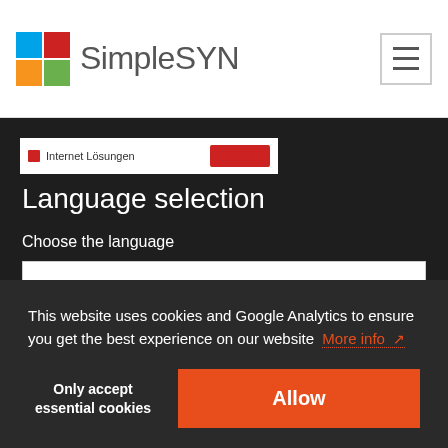[Figure (logo): SimpleSYN logo with colorful squares (blue, red, orange, green) and text 'SimpleSYN' in gray]
[Figure (screenshot): Small banner showing 'Internet Lösungen' with red dot and red button]
Language selection
Choose the language
English (United States) (current)
This website uses cookies and Google Analytics to ensure you get the best experience on our website More info
Only accept essential cookies
Allow